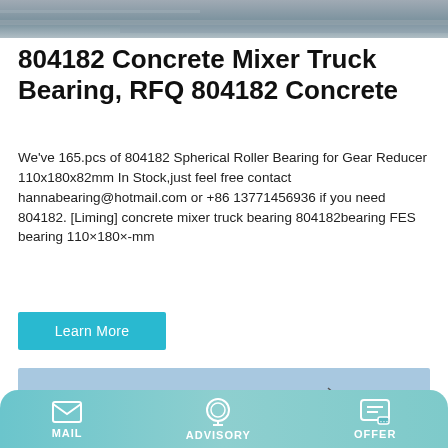[Figure (photo): Top cropped photo of industrial/construction scene (gray tones, concrete surface)]
804182 Concrete Mixer Truck Bearing, RFQ 804182 Concrete
We've 165.pcs of 804182 Spherical Roller Bearing for Gear Reducer 110x180x82mm In Stock,just feel free contact hannabearing@hotmail.com or +86 13771456936 if you need 804182. [Liming] concrete mixer truck bearing 804182bearing FES bearing 110×180×-mm
[Figure (other): Learn More button (teal/cyan colored button)]
[Figure (photo): Yellow concrete mixer truck with Chinese characters 出料 on it, parked at industrial yard]
MAIL   ADVISORY   OFFER